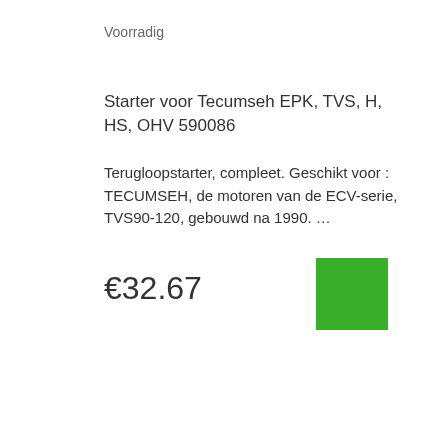Voorradig
Starter voor Tecumseh EPK, TVS, H, HS, OHV 590086
Terugloopstarter, compleet. Geschikt voor : TECUMSEH, de motoren van de ECV-serie, TVS90-120, gebouwd na 1990. …
€32.67
[Figure (other): Green square button/icon]